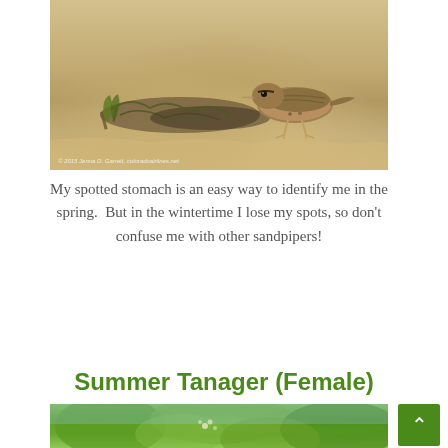[Figure (photo): A spotted sandpiper bird standing on a sandy beach with some vegetation/debris. Photo credit visible in bottom-left corner.]
My spotted stomach is an easy way to identify me in the spring.  But in the wintertime I lose my spots, so don't confuse me with other sandpipers!
Summer Tanager (Female)
[Figure (photo): Partial photo of a Summer Tanager (Female) bird among green foliage, partially visible at bottom of page.]